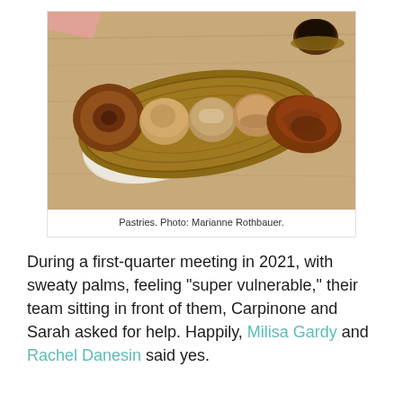[Figure (photo): Overhead photo of a wicker basket filled with various pastries including cinnamon rolls and sweet buns, placed on a wooden table with a white cloth and a cup of coffee in the upper right corner.]
Pastries. Photo: Marianne Rothbauer.
During a first-quarter meeting in 2021, with sweaty palms, feeling “super vulnerable,” their team sitting in front of them, Carpinone and Sarah asked for help. Happily, Milisa Gardy and Rachel Danesin said yes.